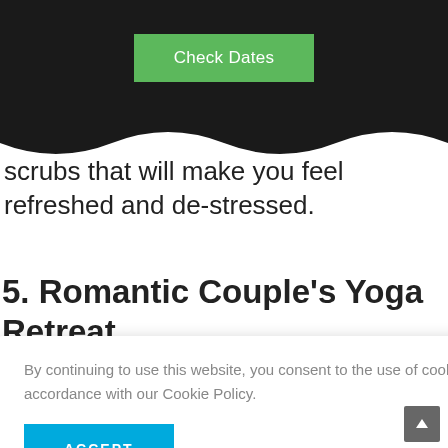[Figure (screenshot): Dark header bar with green 'Check Dates' button]
scrubs that will make you feel refreshed and de-stressed.
5. Romantic Couple's Yoga Retreat
[Figure (photo): Sunset photo with silhouette of person, warm golden tones]
By continuing to use this website, you consent to the use of cookies in accordance with our Cookie Policy.
ACCEPT